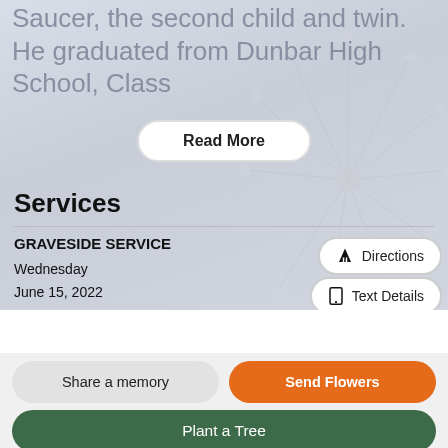Saucer, the second child and twin. He graduated from Dunbar High School, Class
Read More
Services
GRAVESIDE SERVICE
Wednesday
June 15, 2022
12:30 PM
Dayton National Cemetery
4400 West Third Street
Directions
Text Details
Email Details
Share a memory
Send Flowers
Plant a Tree